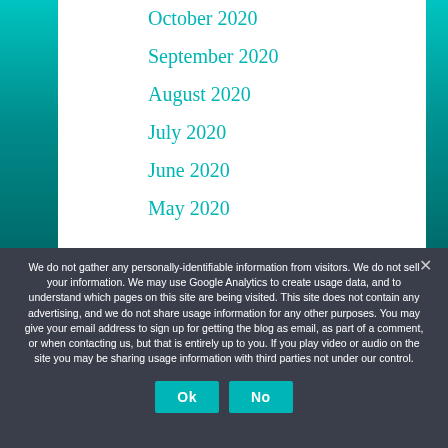October 2020
September 2020
August 2020
July 2020
June 2020
May 2020
We do not gather any personally-identifiable information from visitors. We do not sell your information. We may use Google Analytics to create usage data, and to understand which pages on this site are being visited. This site does not contain any advertising, and we do not share usage information for any other purposes. You may give your email address to sign up for getting the blog as email, as part of a comment, or when contacting us, but that is entirely up to you. If you play video or audio on the site you may be sharing usage information with third parties not under our control.